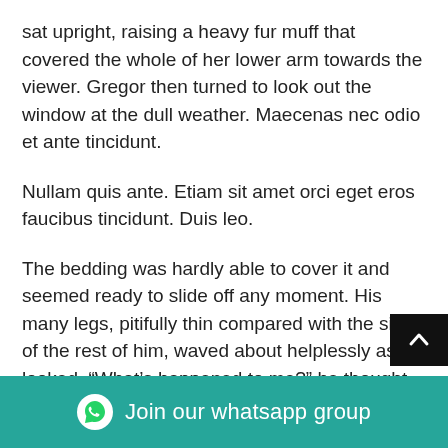sat upright, raising a heavy fur muff that covered the whole of her lower arm towards the viewer. Gregor then turned to look out the window at the dull weather. Maecenas nec odio et ante tincidunt.
Nullam quis ante. Etiam sit amet orci eget eros faucibus tincidunt. Duis leo.
The bedding was hardly able to cover it and seemed ready to slide off any moment. His many legs, pitifully thin compared with the size of the rest of him, waved about helplessly as he looked. “What’s happened to me?” he thought. It wasn’t a dream. His room, a proper human room although a little too small, lay peacefully between its four familiar walls. A collection of textile samples lay spread out on the table – Samsa was a travelling salesman – and above it there recently cut out of an illu
[Figure (other): Back to top button (dark/black background with upward chevron arrow)]
[Figure (other): Join our whatsapp group bar (teal background with WhatsApp icon and text)]